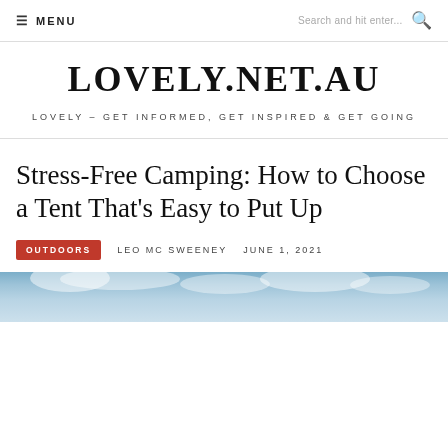≡ MENU    Search and hit enter...
LOVELY.NET.AU
LOVELY – GET INFORMED, GET INSPIRED & GET GOING
Stress-Free Camping: How to Choose a Tent That's Easy to Put Up
OUTDOORS   LEO MC SWEENEY   JUNE 1, 2021
[Figure (photo): Sky with clouds, bottom portion of page]